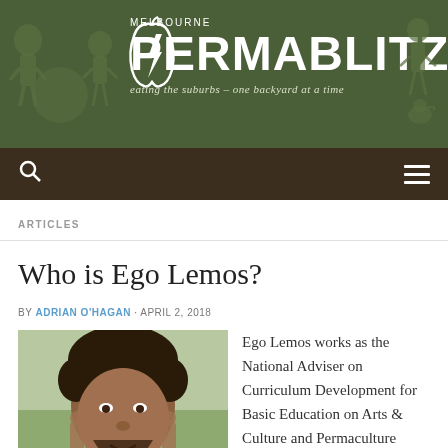[Figure (screenshot): Melbourne Permablitz website banner with dark green background, logo (apple with lightning bolt), 'MELBOURNE PERMABLITZ' text, tagline 'eating the suburbs - one backyard at a time', illustrated human figures on left and right sides.]
ARTICLES
Who is Ego Lemos?
BY ADRIAN O'HAGAN · APRIL 2, 2018
[Figure (photo): Photo of Ego Lemos, a man with curly dark hair and beard, making a gesture with his hands near his face, smiling, wearing a colorful top, with greenery in the background.]
Ego Lemos works as the National Adviser on Curriculum Development for Basic Education on Arts & Culture and Permaculture School Gardens, for the Ministry of Education of